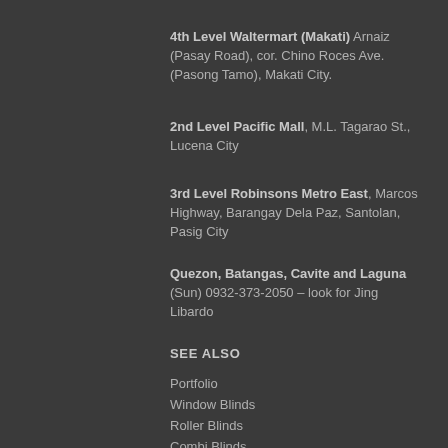4th Level Waltermart (Makati) Arnaiz (Pasay Road), cor. Chino Roces Ave. (Pasong Tamo), Makati City.
2nd Level Pacific Mall, M.L. Tagarao St., Lucena City
3rd Level Robinsons Metro East, Marcos Highway, Barangay Dela Paz, Santolan, Pasig City
Quezon, Batangas, Cavite and Laguna (Sun) 0932-373-2050 – look for Jing Libardo
SEE ALSO
Portfolio
Window Blinds
Roller Blinds
Combi Blinds